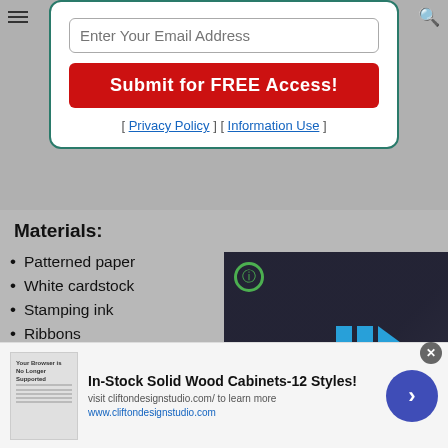[Figure (screenshot): Email signup popup card with input field, red submit button, and policy links]
Materials:
Patterned paper
White cardstock
Stamping ink
Ribbons
Button
Fuse Creativity Sys…
Medium Expansion…
Medium Expansion…
[Figure (screenshot): Video player overlay showing a person with blue play bars and mute icon]
[Figure (screenshot): Advertisement banner for In-Stock Solid Wood Cabinets-12 Styles! from cliftondesignstudio.com]